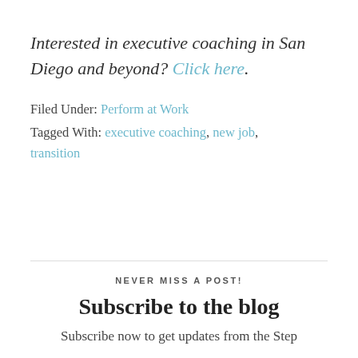Interested in executive coaching in San Diego and beyond? Click here.
Filed Under: Perform at Work
Tagged With: executive coaching, new job, transition
NEVER MISS A POST!
Subscribe to the blog
Subscribe now to get updates from the Step